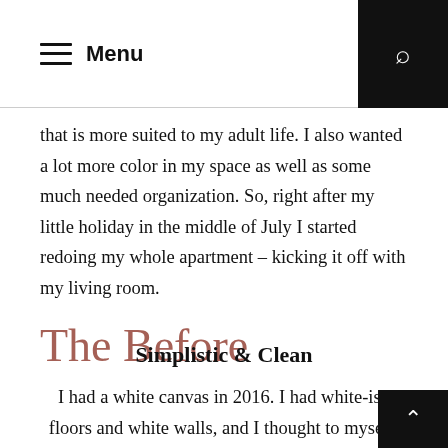Menu
that is more suited to my adult life. I also wanted a lot more color in my space as well as some much needed organization. So, right after my little holiday in the middle of July I started redoing my whole apartment – kicking it off with my living room.
The Before
Simplistic & Clean
I had a white canvas in 2016. I had white-ish floors and white walls, and I thought to myself, well I always